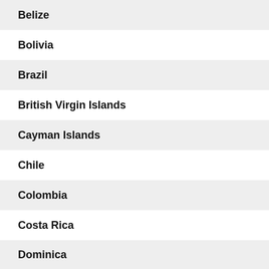Belize
Bolivia
Brazil
British Virgin Islands
Cayman Islands
Chile
Colombia
Costa Rica
Dominica